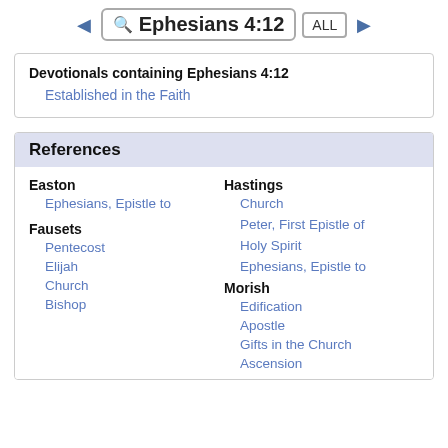Ephesians 4:12  ALL
Devotionals containing Ephesians 4:12
Established in the Faith
References
Easton
Ephesians, Epistle to
Fausets
Pentecost
Elijah
Church
Bishop
Hastings
Church
Peter, First Epistle of
Holy Spirit
Ephesians, Epistle to
Morish
Edification
Apostle
Gifts in the Church
Ascension